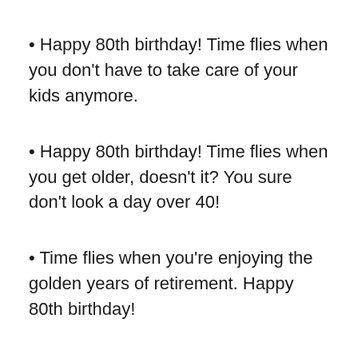• Happy 80th birthday! Time flies when you don't have to take care of your kids anymore.
• Happy 80th birthday! Time flies when you get older, doesn't it? You sure don't look a day over 40!
• Time flies when you're enjoying the golden years of retirement. Happy 80th birthday!